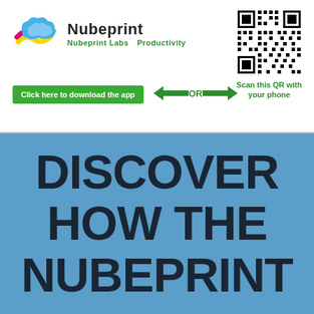[Figure (logo): Nubeprint logo with cloud icon and text 'Nubeprint', 'Nubeprint Labs  Productivity']
Click here to download the app
[Figure (other): Green double-headed arrow with 'OR' text in the middle]
[Figure (other): QR code for scanning with phone]
Scan this QR with your phone
DISCOVER HOW THE NUBEPRINT